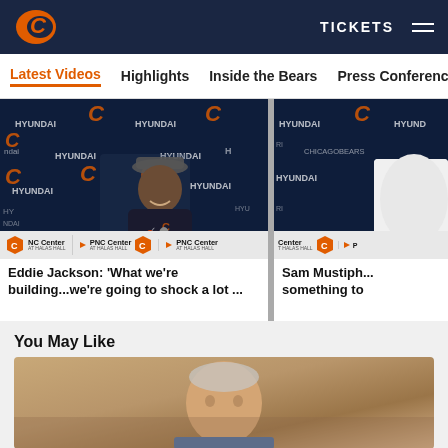Chicago Bears website header with logo, TICKETS link, and hamburger menu
Latest Videos | Highlights | Inside the Bears | Press Conferences
[Figure (screenshot): Video thumbnail: Eddie Jackson press conference at PNC Center at Halas Hall, with Hyundai and Chicago Bears branded backdrop]
Eddie Jackson: 'What we're building...we're going to shock a lot ...'
[Figure (screenshot): Video thumbnail: Sam Mustipher press conference at PNC Center at Halas Hall, with Hyundai and Chicago Bears branded backdrop]
Sam Mustiph... something to
You May Like
[Figure (photo): Recommendation image showing a person (partial view, cropped at bottom of page)]